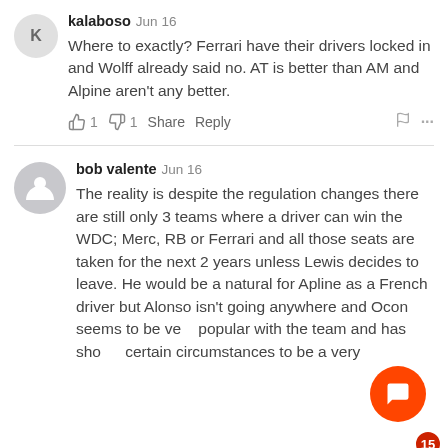kalaboso Jun 16
Where to exactly? Ferrari have their drivers locked in and Wolff already said no. AT is better than AM and Alpine aren't any better.
👍 1  👎 1  Share  Reply  🏁  ...
bob valente Jun 16
The reality is despite the regulation changes there are still only 3 teams where a driver can win the WDC; Merc, RB or Ferrari and all those seats are taken for the next 2 years unless Lewis decides to leave. He would be a natural for Apline as a French driver but Alonso isn't going anywhere and Ocon seems to be very popular with the team and has shown certain circumstances to be a very